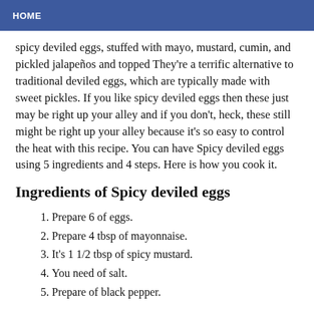HOME
spicy deviled eggs, stuffed with mayo, mustard, cumin, and pickled jalapeños and topped They're a terrific alternative to traditional deviled eggs, which are typically made with sweet pickles. If you like spicy deviled eggs then these just may be right up your alley and if you don't, heck, these still might be right up your alley because it's so easy to control the heat with this recipe. You can have Spicy deviled eggs using 5 ingredients and 4 steps. Here is how you cook it.
Ingredients of Spicy deviled eggs
Prepare 6 of eggs.
Prepare 4 tbsp of mayonnaise.
It's 1 1/2 tbsp of spicy mustard.
You need of salt.
Prepare of black pepper.